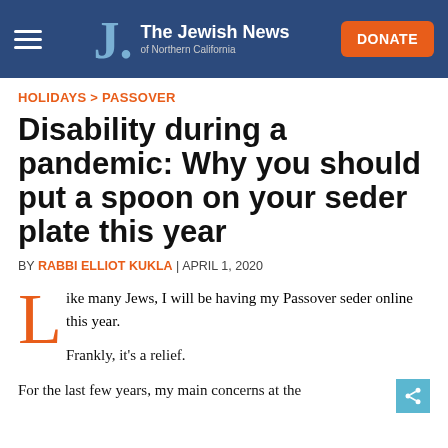The Jewish News of Northern California
HOLIDAYS > PASSOVER
Disability during a pandemic: Why you should put a spoon on your seder plate this year
BY RABBI ELLIOT KUKLA | APRIL 1, 2020
Like many Jews, I will be having my Passover seder online this year.
Frankly, it's a relief.
For the last few years, my main concerns at the